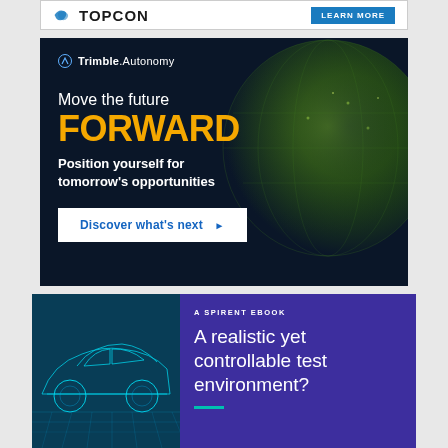[Figure (infographic): Topcon logo banner with blue LEARN MORE button, partially visible at top]
[Figure (infographic): Trimble Autonomy advertisement on dark navy background with globe graphic. Text: 'Move the future FORWARD Position yourself for tomorrow's opportunities. Discover what's next ▶']
[Figure (infographic): Spirent eBook advertisement split layout: left side shows a glowing cyan wireframe car illustration on dark blue, right side purple panel with text 'A SPIRENT EBOOK - A realistic yet controllable test environment?' and a teal underline]